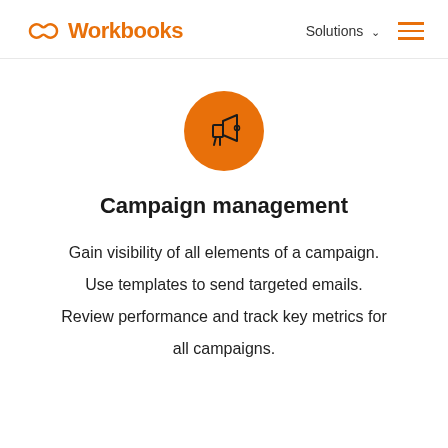Workbooks  Solutions
[Figure (illustration): Orange circle with a megaphone/loudspeaker icon in the center]
Campaign management
Gain visibility of all elements of a campaign. Use templates to send targeted emails. Review performance and track key metrics for all campaigns.